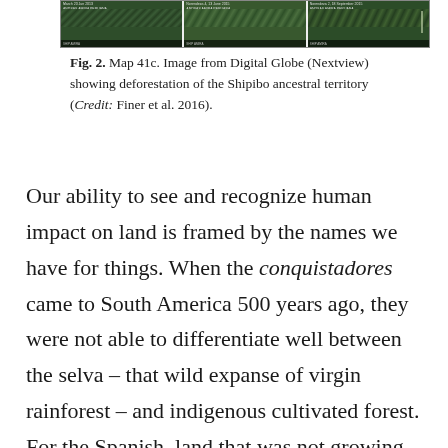[Figure (photo): Three aerial satellite image panels showing deforestation of the Shipibo ancestral territory in South America, from Digital Globe (Nextview). Images show forest canopy with deforestation patterns visible.]
Fig. 2. Map 41c. Image from Digital Globe (Nextview) showing deforestation of the Shipibo ancestral territory (Credit: Finer et al. 2016).
Our ability to see and recognize human impact on land is framed by the names we have for things. When the conquistadores came to South America 500 years ago, they were not able to differentiate well between the selva – that wild expanse of virgin rainforest – and indigenous cultivated forest. For the Spanish, land that was not growing wheat or producing meat was not considered productive. The chacras and purmas² of the original inhabitants, their swidden farms and